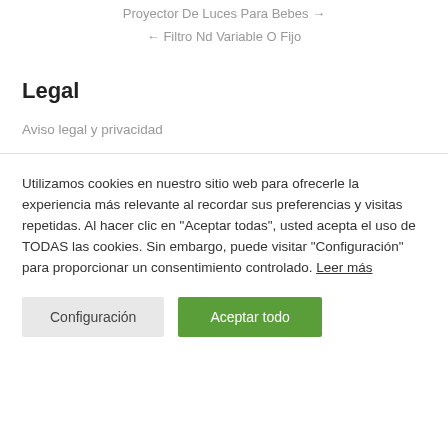Proyector De Luces Para Bebes →
← Filtro Nd Variable O Fijo
Legal
Aviso legal y privacidad
Utilizamos cookies en nuestro sitio web para ofrecerle la experiencia más relevante al recordar sus preferencias y visitas repetidas. Al hacer clic en "Aceptar todas", usted acepta el uso de TODAS las cookies. Sin embargo, puede visitar "Configuración" para proporcionar un consentimiento controlado. Leer más
Configuración
Aceptar todo